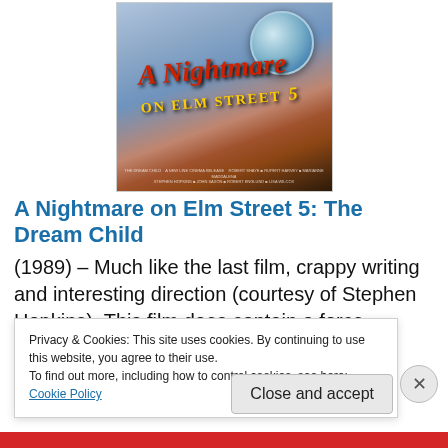[Figure (photo): Movie poster for A Nightmare on Elm Street 5: The Dream Child (1989), showing the film title in red italic script, a globe, and dark atmospheric background]
A Nightmare on Elm Street 5: The Dream Child
(1989) – Much like the last film, crappy writing and interesting direction (courtesy of Stephen Hopkins). This film does contain a force-feeding death that I'd rank as the
Privacy & Cookies: This site uses cookies. By continuing to use this website, you agree to their use.
To find out more, including how to control cookies, see here: Cookie Policy